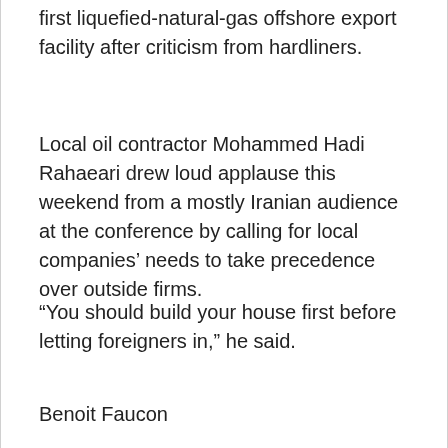first liquefied-natural-gas offshore export facility after criticism from hardliners.
Local oil contractor Mohammed Hadi Rahaeari drew loud applause this weekend from a mostly Iranian audience at the conference by calling for local companies' needs to take precedence over outside firms.
“You should build your house first before letting foreigners in,” he said.
Benoit Faucon